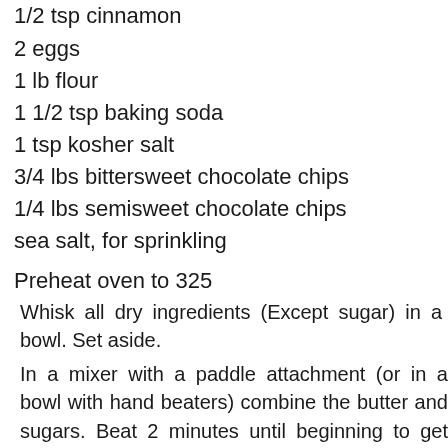1/2 tsp cinnamon
2 eggs
1 lb flour
1 1/2 tsp baking soda
1 tsp kosher salt
3/4 lbs bittersweet chocolate chips
1/4 lbs semisweet chocolate chips
sea salt, for sprinkling
Preheat oven to 325
Whisk all dry ingredients (Except sugar) in a bowl. Set aside.
In a mixer with a paddle attachment (or in a bowl with hand beaters) combine the butter and sugars. Beat 2 minutes until beginning to get light